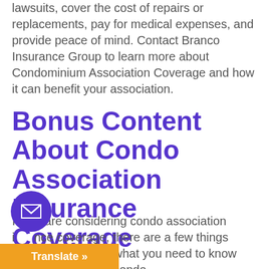lawsuits, cover the cost of repairs or replacements, pay for medical expenses, and provide peace of mind. Contact Branco Insurance Group to learn more about Condominium Association Coverage and how it can benefit your association.
Bonus Content About Condo Association Insurance Coverage
If you are considering condo association insurance coverage, there are a few things you need to know. Here's what you need to know when shopping for condo